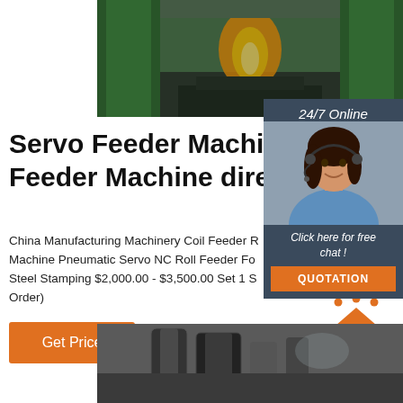[Figure (photo): Industrial servo feeder machine photographed in a factory, large green metal frame structure with fire/heat glow visible in the center arch, dark floor]
[Figure (infographic): 24/7 Online support panel with female customer support agent wearing headset, dark blue background, 'Click here for free chat!' text and orange QUOTATION button]
Servo Feeder Machine, Se Feeder Machine direct fron
China Manufacturing Machinery Coil Feeder R Machine Pneumatic Servo NC Roll Feeder Fo Steel Stamping $2,000.00 - $3,500.00 Set 1 S Order)
[Figure (other): TOP logo with orange triangle shape and dots above, orange bold text 'TOP']
[Figure (photo): Industrial machinery equipment photographed in factory setting, dark cylindrical components visible]